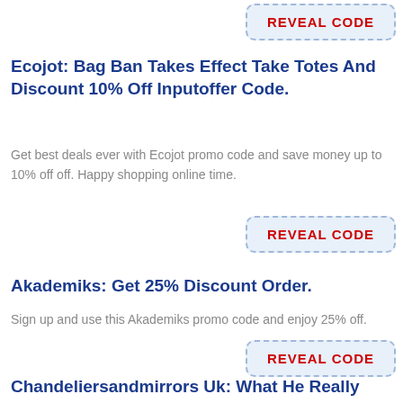[Figure (other): Reveal Code button at top right]
Ecojot: Bag Ban Takes Effect Take Totes And Discount 10% Off Inputoffer Code.
Get best deals ever with Ecojot promo code and save money up to 10% off off. Happy shopping online time.
[Figure (other): Reveal Code button]
Akademiks: Get 25% Discount Order.
Sign up and use this Akademiks promo code and enjoy 25% off.
[Figure (other): Reveal Code button]
Chandeliersandmirrors Uk: What He Really Wants